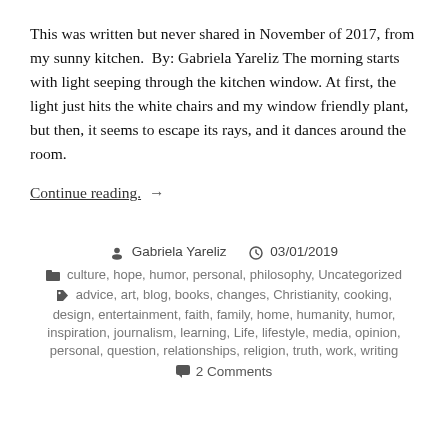This was written but never shared in November of 2017, from my sunny kitchen.  By: Gabriela Yareliz The morning starts with light seeping through the kitchen window. At first, the light just hits the white chairs and my window friendly plant, but then, it seems to escape its rays, and it dances around the room.
Continue reading. →
Gabriela Yareliz  03/01/2019  culture, hope, humor, personal, philosophy, Uncategorized  advice, art, blog, books, changes, Christianity, cooking, design, entertainment, faith, family, home, humanity, humor, inspiration, journalism, learning, Life, lifestyle, media, opinion, personal, question, relationships, religion, truth, work, writing  2 Comments